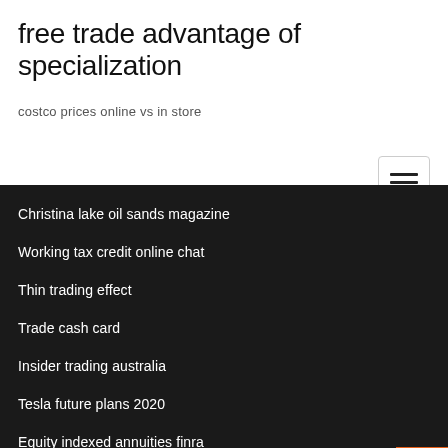free trade advantage of specialization
costco prices online vs in store
[Figure (other): Hamburger menu button with three horizontal lines]
Christina lake oil sands magazine
Working tax credit online chat
Thin trading effect
Trade cash card
Insider trading australia
Tesla future plans 2020
Equity indexed annuities finra
How much is sterling silver worth by the ounce
Minneapolis mn cost of living index